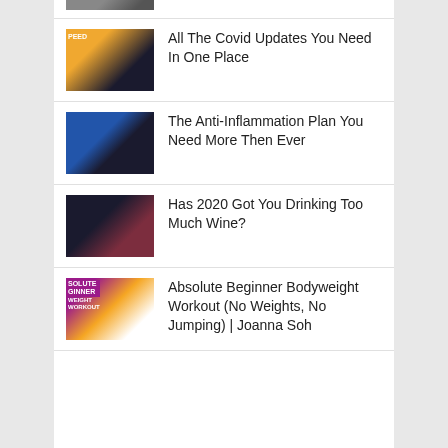[Figure (screenshot): Partial thumbnail of a video at the top of the list, cropped]
All The Covid Updates You Need In One Place
The Anti-Inflammation Plan You Need More Then Ever
Has 2020 Got You Drinking Too Much Wine?
Absolute Beginner Bodyweight Workout (No Weights, No Jumping) | Joanna Soh